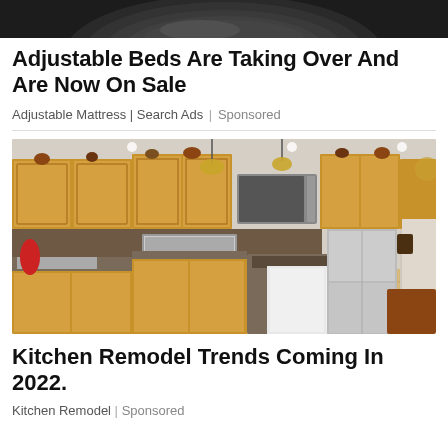[Figure (photo): Partial view of a dark object (likely a cooking pan or cast iron skillet) cropped at the top of the page, shown against a white background.]
Adjustable Beds Are Taking Over And Are Now On Sale
Adjustable Mattress | Search Ads | Sponsored
[Figure (photo): Interior photo of a modern kitchen with honey-oak wooden cabinets, stainless steel appliances including a microwave and gas range, pendant lighting, a kitchen island with dark granite countertop, and a dining area visible in the background with a chandelier. Light hardwood floors throughout.]
Kitchen Remodel Trends Coming In 2022.
Kitchen Remodel | Sponsored